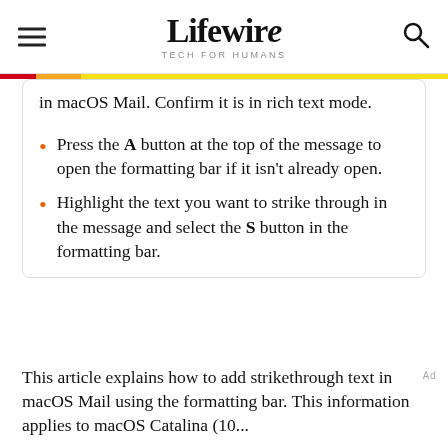Lifewire TECH FOR HUMANS
in macOS Mail. Confirm it is in rich text mode.
Press the A button at the top of the message to open the formatting bar if it isn't already open.
Highlight the text you want to strike through in the message and select the S button in the formatting bar.
This article explains how to add strikethrough text in macOS Mail using the formatting bar. This information applies to macOS Catalina (10...